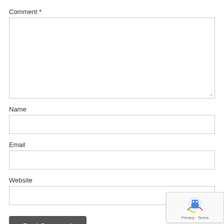Comment *
[Figure (screenshot): Empty comment textarea input box with resize handle]
Name
[Figure (screenshot): Empty name text input box]
Email
[Figure (screenshot): Empty email text input box]
Website
[Figure (screenshot): Empty website text input box]
Post Comment
[Figure (logo): reCAPTCHA badge with robot icon and Privacy - Terms text]